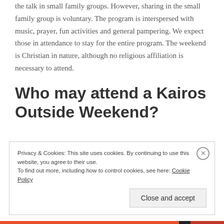the talk in small family groups. However, sharing in the small family group is voluntary. The program is interspersed with music, prayer, fun activities and general pampering. We expect those in attendance to stay for the entire program. The weekend is Christian in nature, although no religious affiliation is necessary to attend.
Who may attend a Kairos Outside Weekend?
Privacy & Cookies: This site uses cookies. By continuing to use this website, you agree to their use. To find out more, including how to control cookies, see here: Cookie Policy